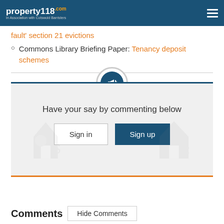property118 In Association with Cotswold Barristers
fault' section 21 evictions
Commons Library Briefing Paper: Tenancy deposit schemes
[Figure (infographic): Have your say by commenting below panel with megaphone icon, Sign in and Sign up buttons]
Comments  Hide Comments